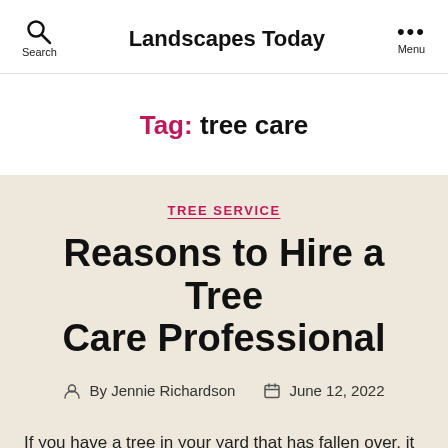Landscapes Today
Tag: tree care
TREE SERVICE
Reasons to Hire a Tree Care Professional
By Jennie Richardson   June 12, 2022
If you have a tree in your yard that has fallen over, it may